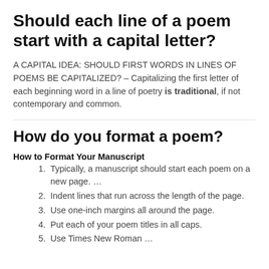Should each line of a poem start with a capital letter?
A CAPITAL IDEA: SHOULD FIRST WORDS IN LINES OF POEMS BE CAPITALIZED? – Capitalizing the first letter of each beginning word in a line of poetry is traditional, if not contemporary and common.
How do you format a poem?
How to Format Your Manuscript
Typically, a manuscript should start each poem on a new page. …
Indent lines that run across the length of the page.
Use one-inch margins all around the page.
Put each of your poem titles in all caps.
Use Times New Roman …